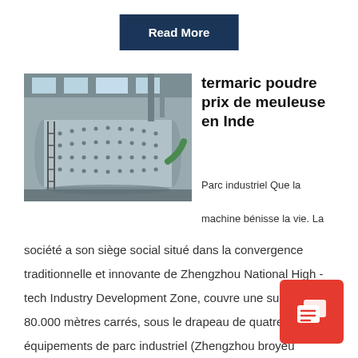Read More
[Figure (photo): Industrial factory interior with large cylindrical ball mill machinery and structural equipment]
termaric poudre prix de meuleuse en Inde
Parc industriel Que la machine bénisse la vie. La société a son siège social situé dans la convergence traditionnelle et innovante de Zhengzhou National High - tech Industry Development Zone, couvre une superficie de 80.000 mètres carrés, sous le drapeau de quatre gr équipements de parc industriel (Zhengzhou broyeu Industrial Park, Shanghai broyeur
[Figure (logo): Red square icon with white chat/document symbol]